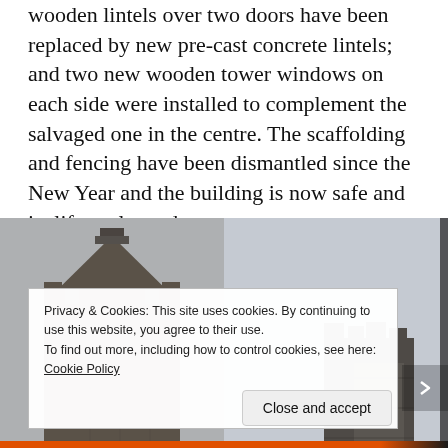wooden lintels over two doors have been replaced by new pre-cast concrete lintels; and two new wooden tower windows on each side were installed to complement the salvaged one in the centre. The scaffolding and fencing have been dismantled since the New Year and the building is now safe and its life prolonged.
[Figure (photo): Two photos side by side showing a stone building tower/parapet with battlements from below, against a grey sky. Left image shows a pointed stone gable with crenellations; right image shows a similar stone parapet structure.]
Privacy & Cookies: This site uses cookies. By continuing to use this website, you agree to their use. To find out more, including how to control cookies, see here: Cookie Policy
Close and accept